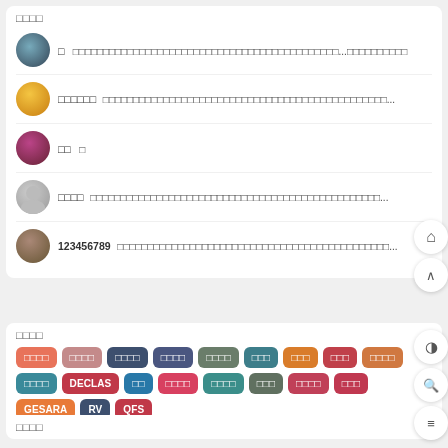□□□□
□  □□□□□□□□□□□□□□□□□□□□□□□□□□□□□□□□□□□□□□□□□□...□□□□□□□□□□
□□□□□□  □□□□□□□□□□□□□□□□□□□□□□□□□□□□□□□□□□□□□□□□□□□□□□...
□□  □
□□□□  □□□□□□□□□□□□□□□□□□□□□□□□□□□□□□□□□□□□□□□□□□□□□□□□...
123456789  □□□□□□□□□□□□□□□□□□□□□□□□□□□□□□□□□□□□□□□□□□□□□...
□□□□
DECLAS □□ □□□□ □□□□ □□□ □□□□ □□□ GESARA RV QFS